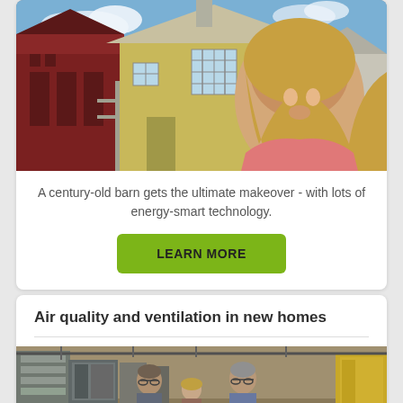[Figure (photo): Photo of a woman standing in front of a century-old barn being renovated, with yellow wood siding and red barn structures visible, blue sky in background]
A century-old barn gets the ultimate makeover - with lots of energy-smart technology.
LEARN MORE
Air quality and ventilation in new homes
[Figure (photo): Photo of people in what appears to be an HVAC or mechanical equipment showroom/warehouse, with machinery and equipment visible]